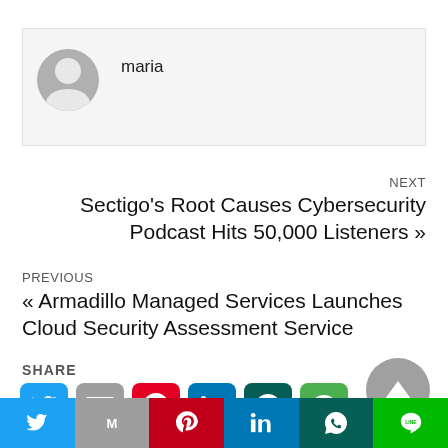[Figure (other): Author avatar (grey circle with person silhouette) and name 'maria']
maria
NEXT
Sectigo's Root Causes Cybersecurity Podcast Hits 50,000 Listeners »
PREVIOUS
« Armadillo Managed Services Launches Cloud Security Assessment Service
SHARE
[Figure (infographic): Row of six social media share buttons: Twitter (blue), Gmail (grey), Pinterest (red), LinkedIn (blue), WhatsApp (dark teal), Line (green)]
[Figure (infographic): Scroll-to-top button: grey circle with upward triangle]
[Figure (infographic): Bottom share bar with six colored sections: Twitter, Gmail, Pinterest, LinkedIn, WhatsApp, Line icons]